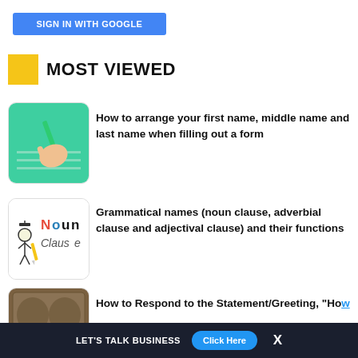[Figure (screenshot): Blue 'SIGN IN WITH GOOGLE' button]
MOST VIEWED
[Figure (photo): Hand writing on paper with green pen on teal background]
How to arrange your first name, middle name and last name when filling out a form
[Figure (illustration): Noun Clause illustration with cartoon character]
Grammatical names (noun clause, adverbial clause and adjectival clause) and their functions
[Figure (photo): Brown/wooden texture thumbnail]
How to Respond to the Statement/Greeting, "How
LET'S TALK BUSINESS   Click Here   X